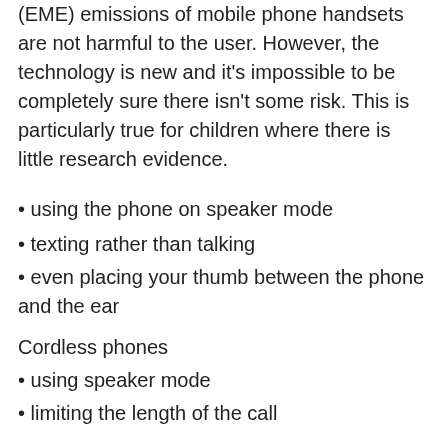(EME) emissions of mobile phone handsets are not harmful to the user. However, the technology is new and it's impossible to be completely sure there isn't some risk. This is particularly true for children where there is little research evidence.
using the phone on speaker mode
texting rather than talking
even placing your thumb between the phone and the ear
Cordless phones
using speaker mode
limiting the length of the call
keeping your distance from the cordless phone base unit
using a wired land-line phone.